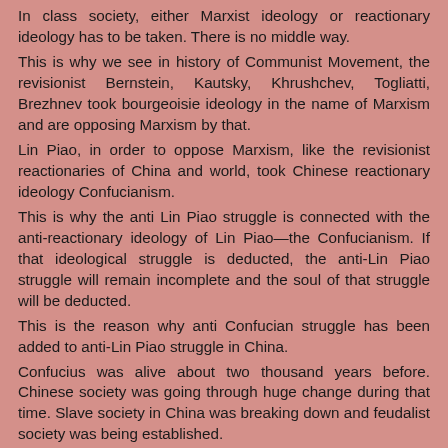In class society, either Marxist ideology or reactionary ideology has to be taken. There is no middle way.
This is why we see in history of Communist Movement, the revisionist Bernstein, Kautsky, Khrushchev, Togliatti, Brezhnev took bourgeoisie ideology in the name of Marxism and are opposing Marxism by that.
Lin Piao, in order to oppose Marxism, like the revisionist reactionaries of China and world, took Chinese reactionary ideology Confucianism.
This is why the anti Lin Piao struggle is connected with the anti-reactionary ideology of Lin Piao—the Confucianism. If that ideological struggle is deducted, the anti-Lin Piao struggle will remain incomplete and the soul of that struggle will be deducted.
This is the reason why anti Confucian struggle has been added to anti-Lin Piao struggle in China.
Confucius was alive about two thousand years before. Chinese society was going through huge change during that time. Slave society in China was breaking down and feudalist society was being established.
Confucius propagated on behalf of restoration of slave society and opposed the then progressive social system-